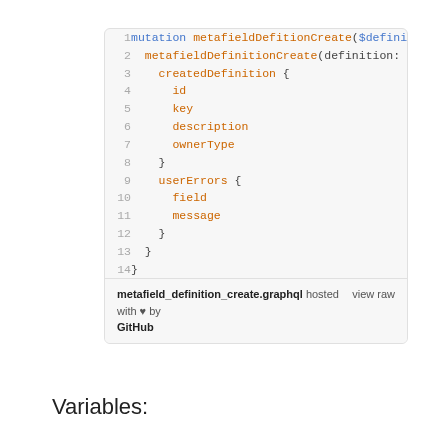[Figure (screenshot): GitHub Gist code viewer showing a GraphQL mutation file named metafield_definition_create.graphql with 14 lines of code]
Variables: